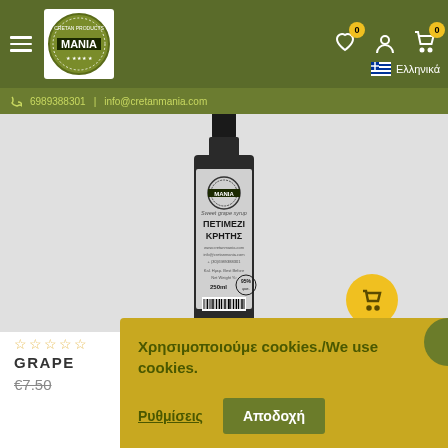[Figure (screenshot): E-commerce website header with hamburger menu, Cretan Mania logo, wishlist icon (0), user icon, cart icon (0), and Greek flag with Ελληνικα language selector on olive green background]
6989388301  info@cretanmania.com
[Figure (photo): Product bottle of Cretan Mania Sweet grape syrup - Petimezi Kriths, 250ml, shown against light grey background]
GRAPE
€7.50
Χρησιμοποιούμε cookies./We use cookies.
Ρυθμίσεις
Αποδοχή